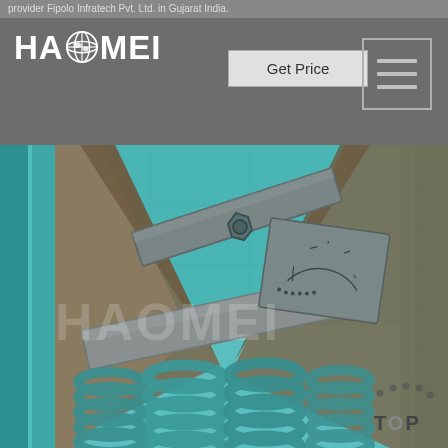provider Fipolo Infratech Pvt. Ltd. in Gujarat India.
[Figure (logo): HAOMEI logo with globe icon in white text on grey background]
[Figure (other): Get Price button]
[Figure (other): Hamburger menu icon button]
[Figure (photo): Close-up photograph of industrial machinery interior showing metal plates, bolt, angular steel brackets, and large coil springs, in teal/cyan color scheme with HAOMEI watermark. TOP navigation badge in bottom right corner.]